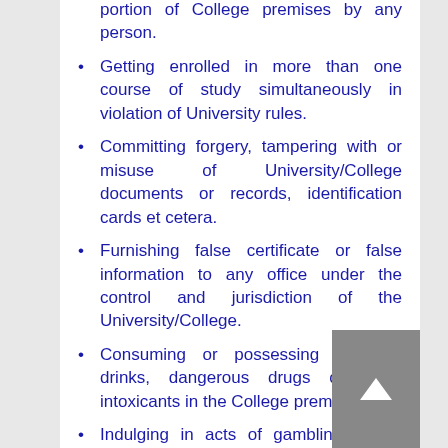portion of College premises by any person.
Getting enrolled in more than one course of study simultaneously in violation of University rules.
Committing forgery, tampering with or misuse of University/College documents or records, identification cards et cetera.
Furnishing false certificate or false information to any office under the control and jurisdiction of the University/College.
Consuming or possessing alcoholic drinks, dangerous drugs or other intoxicants in the College premises.
Indulging in acts of gambling in the College premises.
Possessing or using weapons such as knives, lathis, iron chains, iron rods, sticks, explosives and fire arms in the